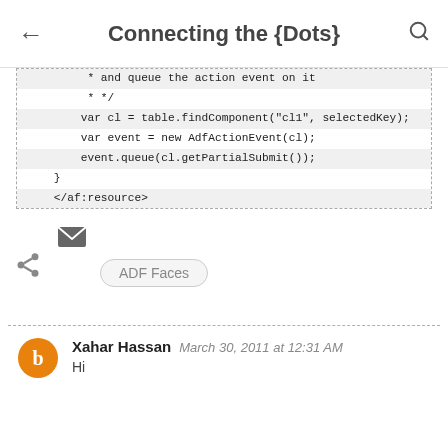Connecting the {Dots}
[Figure (screenshot): Code block showing JavaScript code with lines: '* and queue the action event on it', '* */', 'var cl = table.findComponent("cl1", selectedKey);', 'var event = new AdfActionEvent(cl);', 'event.queue(cl.getPartialSubmit());', '}', '</af:resource>']
[Figure (infographic): Share icon (left), mail envelope icon (top right), ADF Faces tag pill]
ADF Faces
Xahar Hassan  March 30, 2011 at 12:31 AM
Hi